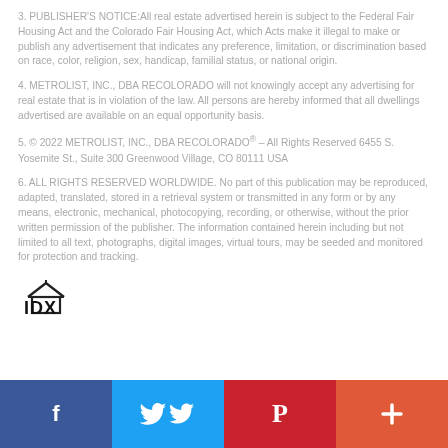3. PUBLISHER'S NOTICE:All real estate advertised herein is subject to the Federal Fair Housing Act and the Colorado Fair Housing Act, which Acts make it illegal to make or publish any advertisement that indicates any preference, limitation, or discrimination based on race, color, religion, sex, handicap, familial status, or national origin.
4. METROLIST, INC., DBA RECOLORADO will not knowingly accept any advertising for real estate that is in violation of the law. All persons are hereby informed that all dwellings advertised are available on an equal opportunity basis.
5. © 2022 METROLIST, INC., DBA RECOLORADO® – All Rights Reserved 6455 S. Yosemite St., Suite 300 Greenwood Village, CO 80111 USA
6. ALL RIGHTS RESERVED WORLDWIDE. No part of this publication may be reproduced, adapted, translated, stored in a retrieval system or transmitted in any form or by any means, electronic, mechanical, photocopying, recording, or otherwise, without the prior written permission of the publisher. The information contained herein including but not limited to all text, photographs, digital images, virtual tours, may be seeded and monitored for protection and tracking.
[Figure (logo): IDX logo — house outline with IDX text in black]
[Figure (infographic): Social media share bar with Facebook, Twitter, Pinterest, and plus (+) buttons]